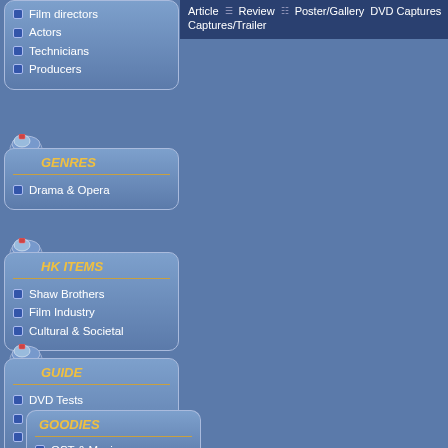Film directors
Actors
Technicians
Producers
GENRES
Drama & Opera
HK ITEMS
Shaw Brothers
Film Industry
Cultural & Societal
GUIDE
DVD Tests
HK Cinema Books
Where to buy?
GOODIES
OST & Music
Article  Review  Poster/Gallery  DVD Captures  Captures/Trailer